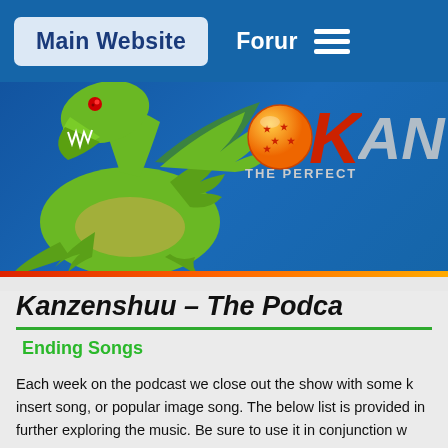Main Website | Forum
[Figure (illustration): Kanzenshuu website banner with green dragon cartoon character on the left and the Kanzenshuu logo (orange sphere with stars, red K, silver AN letters) on the right with text 'THE PERFECT' below the logo, all on a blue background]
Kanzenshuu – The Podca
Ending Songs
Each week on the podcast we close out the show with some k insert song, or popular image song. The below list is provided in further exploring the music. Be sure to use it in conjunction w extra support!